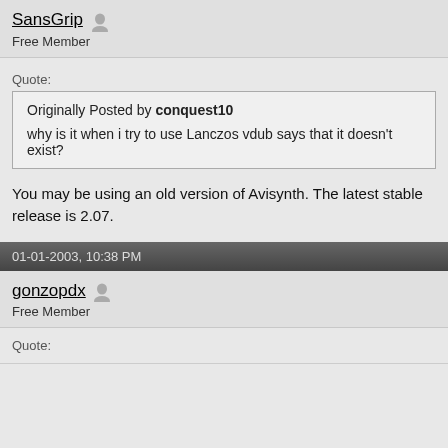SansGrip
Free Member
Quote:
Originally Posted by conquest10
why is it when i try to use Lanczos vdub says that it doesn't exist?
You may be using an old version of Avisynth. The latest stable release is 2.07.
01-01-2003, 10:38 PM
gonzopdx
Free Member
Quote: